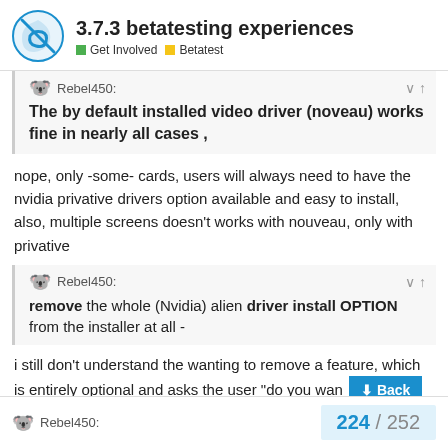3.7.3 betatesting experiences | Get Involved | Betatest
Rebel450: The by default installed video driver (noveau) works fine in nearly all cases ,
nope, only -some- cards, users will always need to have the nvidia privative drivers option available and easy to install, also, multiple screens doesn't works with nouveau, only with privative
Rebel450: remove the whole (Nvidia) alien driver install OPTION from the installer at all -
i still don't understand the wanting to remove a feature, which is entirely optional and asks the user "do you wan
224 / 252